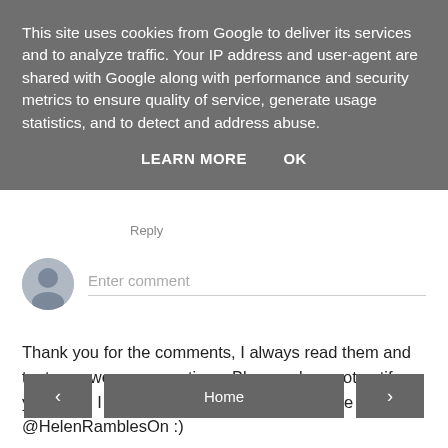This site uses cookies from Google to deliver its services and to analyze traffic. Your IP address and user-agent are shared with Google along with performance and security metrics to ensure quality of service, generate usage statistics, and to detect and address abuse.
LEARN MORE   OK
Reply
[Figure (other): User avatar icon — grey circle with silhouette]
Enter comment
Thank you for the comments, I always read them and try to answer any questions. Blogger does not notify you when I reply so you can always tweet me @HelenRamblesOn :)
‹
Home
›